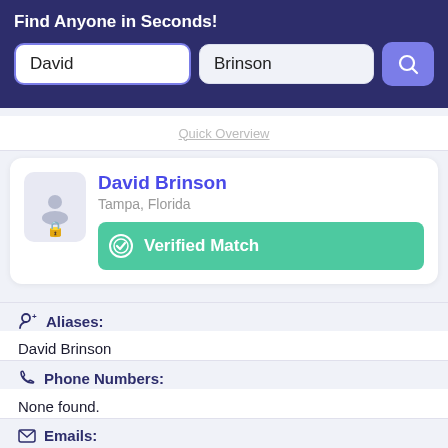Find Anyone in Seconds!
David
Brinson
Quick Overview
David Brinson
Tampa, Florida
Verified Match
Aliases:
David Brinson
Phone Numbers:
None found.
Emails:
ibblessed@juno.com